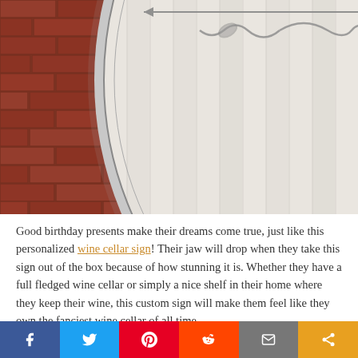[Figure (photo): A circular wine cellar sign mounted on a brick wall. The round sign has a white/light gray wood-plank background with decorative scrollwork and reads 'WINE CELLAR' in large serif letters, with '2021' below, and ornamental vine/flourish designs.]
Good birthday presents make their dreams come true, just like this personalized wine cellar sign! Their jaw will drop when they take this sign out of the box because of how stunning it is. Whether they have a full fledged wine cellar or simply a nice shelf in their home where they keep their wine, this custom sign will make them feel like they own the fanciest wine cellar of all time.
[Figure (infographic): Social media share bar with 6 colored buttons: Facebook (dark blue), Twitter (light blue), Pinterest (red), Reddit (orange-red), Email (gray), Share (yellow-orange)]